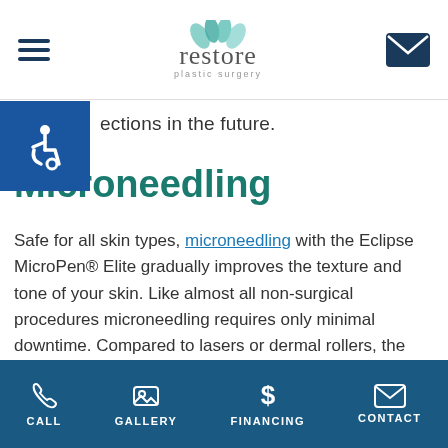restore plastic surgery
ections in the future.
Microneedling
Safe for all skin types, microneedling with the Eclipse MicroPen® Elite gradually improves the texture and tone of your skin. Like almost all non-surgical procedures microneedling requires only minimal downtime. Compared to lasers or dermal rollers, the MicroPen® delivers reliable and improved outcomes for basically every patient.
CALL  GALLERY  FINANCING  CONTACT